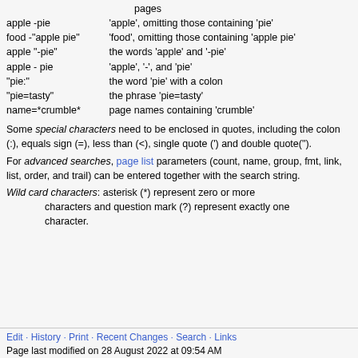pages (partial, top of page)
apple -pie   'apple', omitting those containing 'pie'
food -"apple pie"   'food', omitting those containing 'apple pie'
apple "-pie"   the words 'apple' and '-pie'
apple - pie   'apple', '-', and 'pie'
"pie:"   the word 'pie' with a colon
"pie=tasty"   the phrase 'pie=tasty'
name=*crumble*   page names containing 'crumble'
Some special characters need to be enclosed in quotes, including the colon (:), equals sign (=), less than (<), single quote (') and double quote(").
For advanced searches, page list parameters (count, name, group, fmt, link, list, order, and trail) can be entered together with the search string.
Wild card characters: asterisk (*) represent zero or more characters and question mark (?) represent exactly one character.
Edit · History · Print · Recent Changes · Search · Links
Page last modified on 28 August 2022 at 09:54 AM